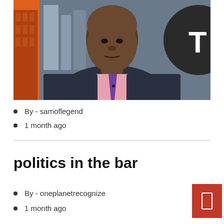[Figure (photo): A man in a dark suit and pink shirt with a purple tie sitting at a TV studio desk. Orange and dark background with a partial 'T' logo visible on the right.]
By - samoflegend
1 month ago
politics in the bar
By - oneplanetrecognize
1 month ago